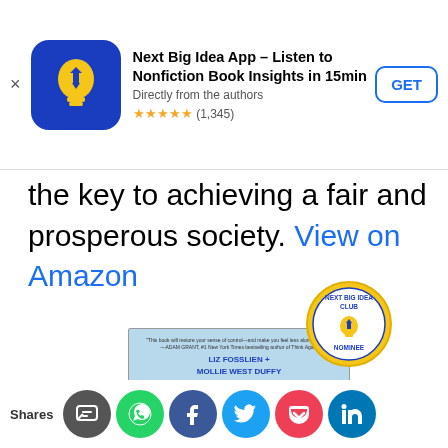[Figure (screenshot): App store ad banner for 'Next Big Idea App – Listen to Nonfiction Book Insights in 15min'. Shows app icon (blue with yellow lightbulb), title, subtitle 'Directly from the authors', star rating 5 stars (1,345), and a GET button.]
the key to achieving a fair and prosperous society. View on Amazon
[Figure (photo): Book cover of 'Big Feelings: How to Be Okay When Things Are Not Okay' by Liz Fosslien and Mollie West Duffy, with Next Big Idea Club Nominee badge.]
Shares